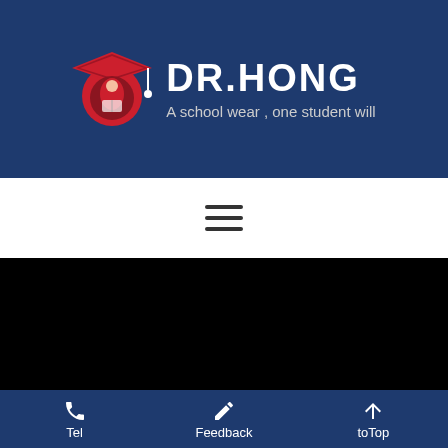[Figure (logo): DR.HONG school wear brand logo with graduation cap icon in red and white, on dark navy background, tagline: A school wear , one student will]
[Figure (other): Hamburger menu icon (three horizontal lines) on white navigation bar]
[Figure (other): Black content area (main content/video region)]
Tel  Feedback  toTop